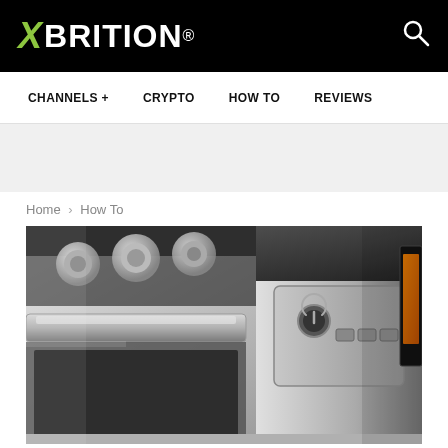XABRITION®
CHANNELS +   CRYPTO   HOW TO   REVIEWS
Home › How To
[Figure (photo): Close-up photo of stainless steel kitchen appliances showing oven/range with control knobs and a dishwasher or washing machine with control panel buttons and digital display]